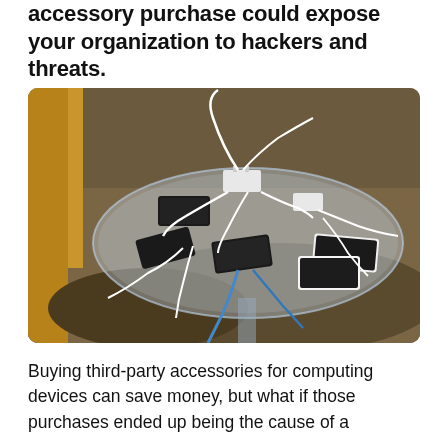accessory purchase could expose your organization to hackers and threats.
[Figure (photo): Photo of multiple smartphones charging on a round glass table with tangled white and blue USB cables and charging adapters, placed on a patterned carpet floor.]
Buying third-party accessories for computing devices can save money, but what if those purchases ended up being the cause of a cybersecurity attack and the exposure of...